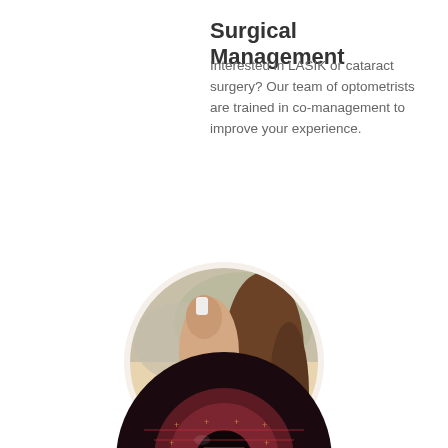Surgical Management
Interested in LASIK or cataract surgery? Our team of optometrists are trained in co-management to improve your experience.
[Figure (photo): A woman smiling and applying eye drops, shown in a circular crop]
[Figure (photo): Close-up of an eye with laser/surgical measurement overlay, shown as partially visible circle at bottom of page]